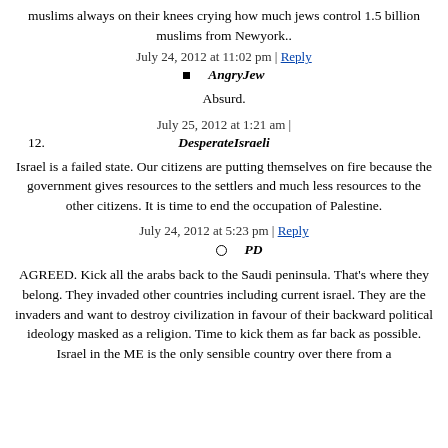muslims always on their knees crying how much jews control 1.5 billion muslims from Newyork..
July 24, 2012 at 11:02 pm | Reply
AngryJew
Absurd.
July 25, 2012 at 1:21 am |
12. DesperateIsraeli
Israel is a failed state. Our citizens are putting themselves on fire because the government gives resources to the settlers and much less resources to the other citizens. It is time to end the occupation of Palestine.
July 24, 2012 at 5:23 pm | Reply
PD
AGREED. Kick all the arabs back to the Saudi peninsula. That's where they belong. They invaded other countries including current israel. They are the invaders and want to destroy civilization in favour of their backward political ideology masked as a religion. Time to kick them as far back as possible. Israel in the ME is the only sensible country over there from a